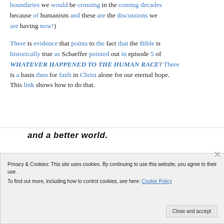boundaries we would be crossing in the coming decades because of humanism and these are the discussions we are having now!)
There is evidence that points to the fact that the Bible is historically true as Schaeffer pointed out in episode 5 of WHATEVER HAPPENED TO THE HUMAN RACE? There is a basis then for faith in Christ alone for our eternal hope. This link shows how to do that.
[Figure (screenshot): Partially visible web banner with bold italic text 'and a better world.' and an Apply button in blue, with a circular avatar photo of a man with glasses on the right.]
Privacy & Cookies: This site uses cookies. By continuing to use this website, you agree to their use.
To find out more, including how to control cookies, see here: Cookie Policy
Close and accept